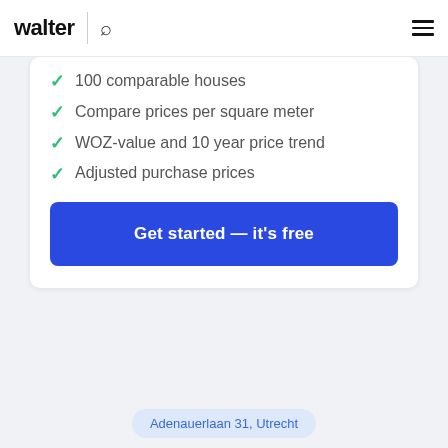walter
100 comparable houses
Compare prices per square meter
WOZ-value and 10 year price trend
Adjusted purchase prices
Get started — it's free
Adenauerlaan 31, Utrecht